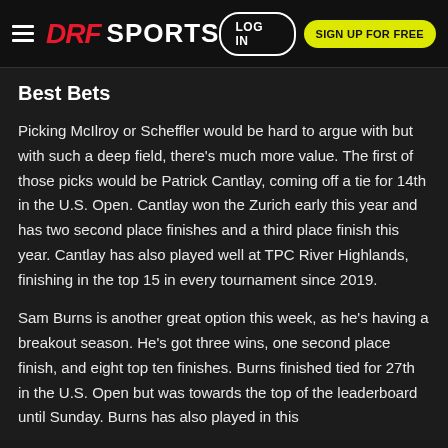DRF SPORTS | LOG IN | SIGN UP FOR FREE
Best Bets
Picking McIlroy or Scheffler would be hard to argue with but with such a deep field, there's much more value. The first of those picks would be Patrick Cantlay, coming off a tie for 14th in the U.S. Open. Cantlay won the Zurich early this year and has two second place finishes and a third place finish this year. Cantlay has also played well at TPC River Highlands, finishing in the top 15 in every tournament since 2019.
Sam Burns is another great option this week, as he's having a breakout season. He's got three wins, one second place finish, and eight top ten finishes. Burns finished tied for 27th in the U.S. Open but was towards the top of the leaderboard until Sunday. Burns has also played in this